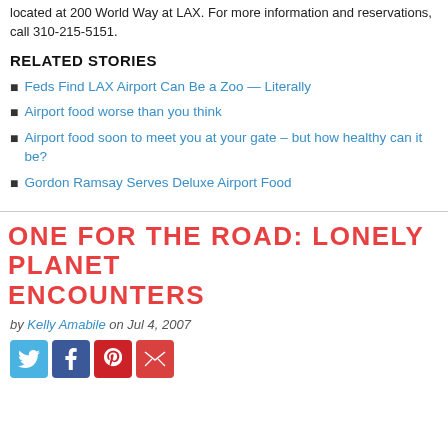located at 200 World Way at LAX. For more information and reservations, call 310-215-5151.
RELATED STORIES
Feds Find LAX Airport Can Be a Zoo — Literally
Airport food worse than you think
Airport food soon to meet you at your gate – but how healthy can it be?
Gordon Ramsay Serves Deluxe Airport Food
ONE FOR THE ROAD: LONELY PLANET ENCOUNTERS
by Kelly Amabile on Jul 4, 2007